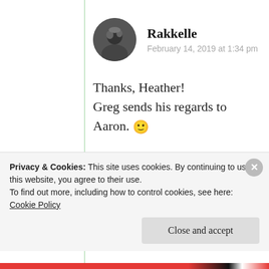Rakkelle
February 14, 2019 at 1:34 pm
Thanks, Heather!
Greg sends his regards to Aaron. 🙂
★ Liked by 1 person
↩ Reply
Privacy & Cookies: This site uses cookies. By continuing to use this website, you agree to their use.
To find out more, including how to control cookies, see here:
Cookie Policy
Close and accept